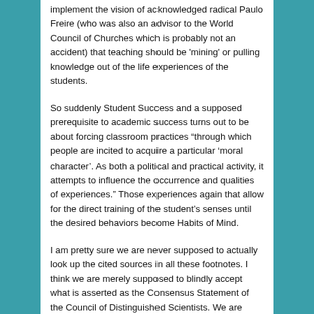implement the vision of acknowledged radical Paulo Freire (who was also an advisor to the World Council of Churches which is probably not an accident) that teaching should be 'mining' or pulling knowledge out of the life experiences of the students.
So suddenly Student Success and a supposed prerequisite to academic success turns out to be about forcing classroom practices "through which people are incited to acquire a particular 'moral character'. As both a political and practical activity, it attempts to influence the occurrence and qualities of experiences." Those experiences again that allow for the direct training of the student's senses until the desired behaviors become Habits of Mind.
I am pretty sure we are never supposed to actually look up the cited sources in all these footnotes. I think we are merely supposed to blindly accept what is asserted as the Consensus Statement of the Council of Distinguished Scientists. We are most assuredly not supposed to track the mandated practices back to its actual goal: